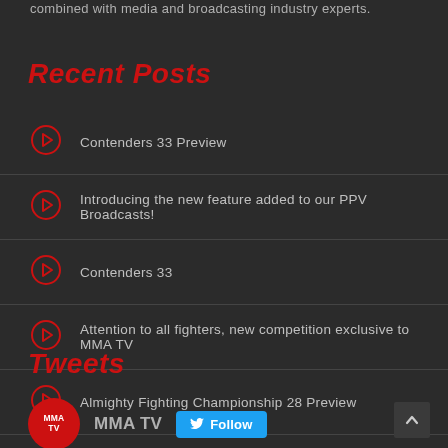combined with media and broadcasting industry experts.
Recent Posts
Contenders 33 Preview
Introducing the new feature added to our PPV Broadcasts!
Contenders 33
Attention to all fighters, new competition exclusive to MMA TV
Almighty Fighting Championship 28 Preview
Tweets
MMA TV Follow